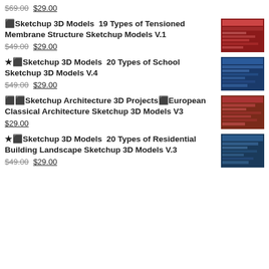$69.00 $29.00
⬛Sketchup 3D Models  19 Types of Tensioned Membrane Structure Sketchup Models V.1  $49.00 $29.00
★⬛Sketchup 3D Models  20 Types of School Sketchup 3D Models V.4  $49.00 $29.00
⬛⬛Sketchup Architecture 3D Projects⬛European Classical Architecture Sketchup 3D Models V3  $29.00
★⬛Sketchup 3D Models  20 Types of Residential Building Landscape Sketchup 3D Models V.3  $49.00 $29.00